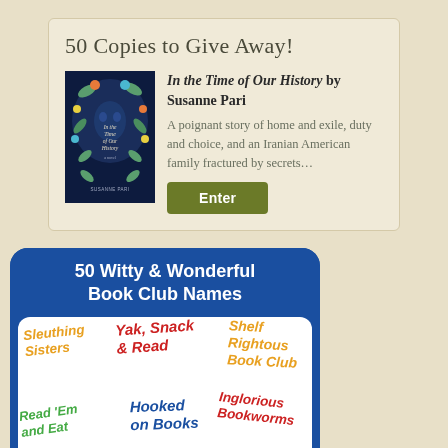50 Copies to Give Away!
[Figure (illustration): Book cover for 'In the Time of Our History' by Susanne Pari — dark background with decorative floral and bird motifs]
In the Time of Our History by Susanne Pari
A poignant story of home and exile, duty and choice, and an Iranian American family fractured by secrets…
Enter
50 Witty & Wonderful Book Club Names
Sleuthing Sisters  Yak, Snack & Read  Shelf Rightous Book Club  Read 'Em and Eat  Hooked on Books  Inglorious Bookworms  Loquacious  Melanated